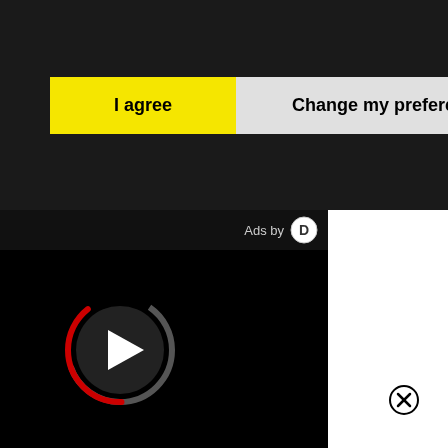[Figure (screenshot): Cookie consent buttons: 'I agree' (yellow) and 'Change my preferences' (light gray) on dark background]
[Figure (screenshot): Video player area with black background, play button icon with red/dark circular progress ring, and 'Ads by' label with D logo. White panel on right with close (X) button.]